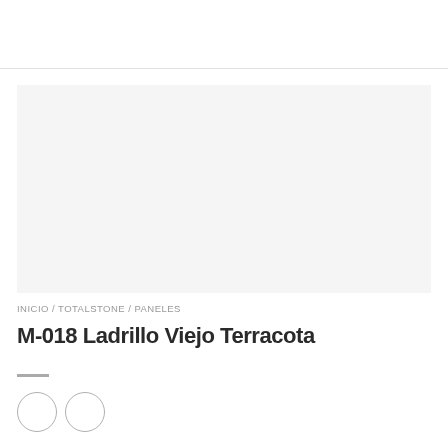[Figure (photo): Light gray placeholder image area for product M-018 Ladrillo Viejo Terracota panel]
INICIO / TOTALSTONE / PANELES
M-018 Ladrillo Viejo Terracota